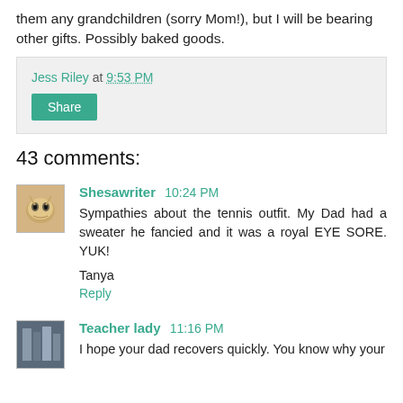them any grandchildren (sorry Mom!), but I will be bearing other gifts. Possibly baked goods.
Jess Riley at 9:53 PM
Share
43 comments:
Shesawriter 10:24 PM
Sympathies about the tennis outfit. My Dad had a sweater he fancied and it was a royal EYE SORE. YUK!
Tanya
Reply
Teacher lady 11:16 PM
I hope your dad recovers quickly. You know why your